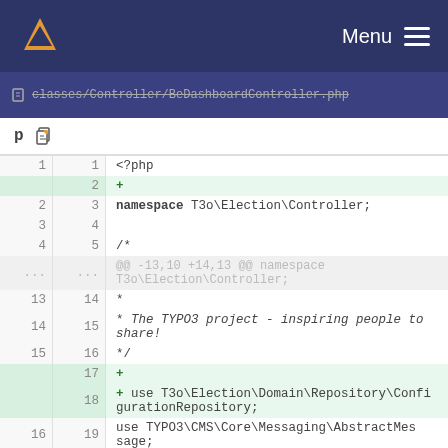Menu
classes/Controller/BeDashboardController.php
[Figure (screenshot): Code diff view showing PHP file BeDashboardController.php with line numbers and added lines highlighted in green. Line 2 added (blank), line 17 added (+), line 18 added: use T3o\Election\Domain\Repository\ConfigurationRepository;]
1 1 <?php
2 +
2 3 namespace T3o\Election\Controller;
3 4
4 5 /*
... ... @@ -13,10 +14,13 @@ namespace T3o\Election\Controller;
13 14  *
14 15  * The TYPO3 project - inspiring people to share!
15 16  */
17 +
18 + use T3o\Election\Domain\Repository\ConfigurationRepository;
16 19 use TYPO3\CMS\Core\Messaging\AbstractMessage;